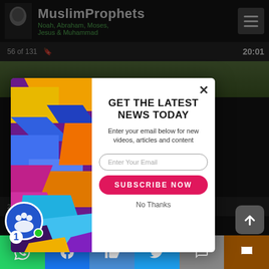MuslimProphets — Noah, Abraham, Moses, Jesus & Muhammad
[Figure (screenshot): Website screenshot showing MuslimProphets.com with a modal email subscription popup overlay]
GET THE LATEST NEWS TODAY
Enter your email below for new videos, articles and content
Enter Your Email
SUBSCRIBE NOW
No Thanks
22... 9 hrs ago | 5 years ago
SUMO
This ... on our webs